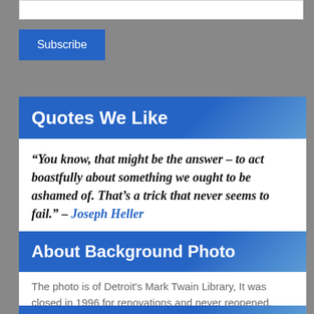[Figure (screenshot): Input text box (empty, white with border)]
Subscribe
Quotes We Like
“You know, that might be the answer – to act boastfully about something we ought to be ashamed of. That’s a trick that never seems to fail.” – Joseph Heller
About Background Photo
The photo is of Detroit's Mark Twain Library, It was closed in 1996 for renovations and never reopened. Photo by Brandon Davis